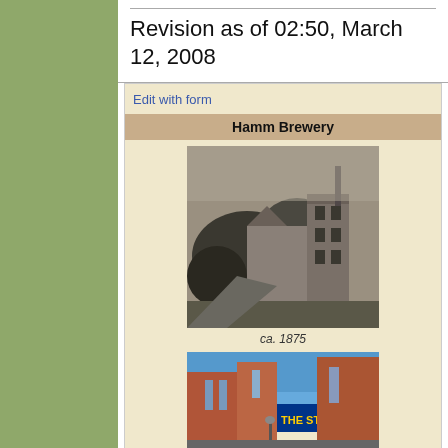Revision as of 02:50, March 12, 2008
Edit with form
Hamm Brewery
[Figure (photo): Historical black and white photograph of Hamm Brewery ca. 1875, showing stone buildings and a tower surrounded by trees]
ca. 1875
[Figure (photo): Color photograph of The Stroh Brewery, a modern brick building with blue signage]